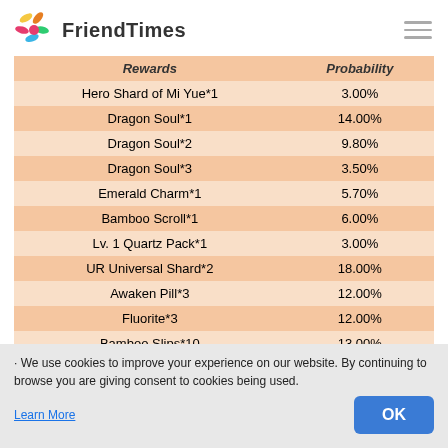FriendTimes
| Rewards | Probability |
| --- | --- |
| Hero Shard of Mi Yue*1 | 3.00% |
| Dragon Soul*1 | 14.00% |
| Dragon Soul*2 | 9.80% |
| Dragon Soul*3 | 3.50% |
| Emerald Charm*1 | 5.70% |
| Bamboo Scroll*1 | 6.00% |
| Lv. 1 Quartz Pack*1 | 3.00% |
| UR Universal Shard*2 | 18.00% |
| Awaken Pill*3 | 12.00% |
| Fluorite*3 | 12.00% |
| Bamboo Slips*10 | 13.00% |
「Postscript」
1. Tap Events→Hero Summoning to view and join the event. · The more the in-game merit balance on our website account the more merit will you have any problems for the above explanation, please contact our CS for further information in case of any unnecessary losses.
· We use cookies to improve your experience on our website. By continuing to browse you are giving consent to cookies being used.
Learn More